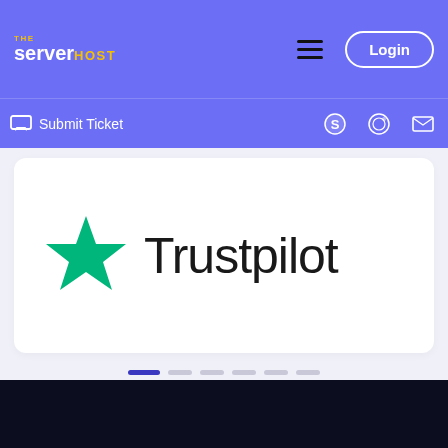[Figure (logo): TheServerHost navigation logo with hamburger menu and Login button on purple background]
Submit Ticket
[Figure (logo): Trustpilot logo with green star and wordmark 'Trustpilot' in large black font, inside a white card panel]
[Figure (infographic): Carousel pagination dots: one active dark blue pill, five inactive grey pills]